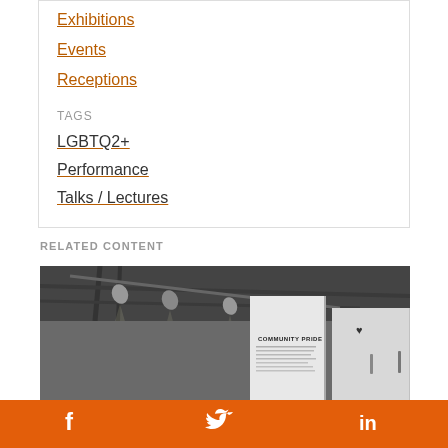Exhibitions
Events
Receptions
TAGS
LGBTQ2+
Performance
Talks / Lectures
RELATED CONTENT
[Figure (photo): Interior of an exhibition gallery with track lighting on ceiling, and white display panels. One panel reads 'COMMUNITY PRIDE' with text below it.]
f  Twitter  in